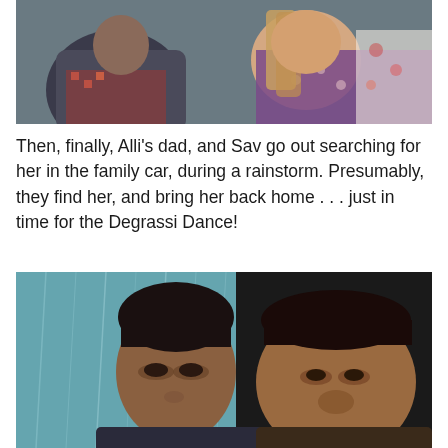[Figure (photo): A screenshot from a TV show showing two people sitting together, one in a dark shirt and one in a light floral top with long hair.]
Then, finally, Alli's dad, and Sav go out searching for her in the family car, during a rainstorm.  Presumably, they find her, and bring her back home  . . . just in time for the Degrassi Dance!
[Figure (photo): A screenshot from a TV show showing two young South Asian males in profile view, one younger in the foreground and one older behind him, with a rain-blurred window background.]